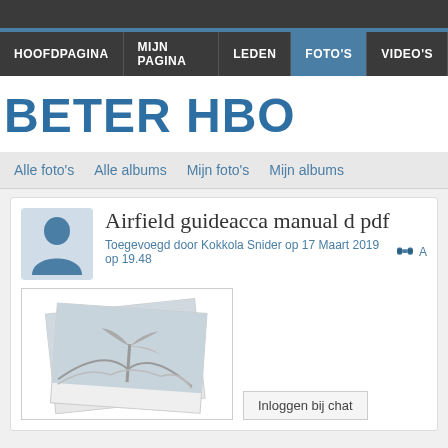HOOFDPAGINA | MIJN PAGINA | LEDEN | FOTO'S | VIDEO'S
BETER HBO
Alle foto's  Alle albums  Mijn foto's  Mijn albums
Airfield guideacca manual d pdf
Toegevoegd door Kokkola Snider op 17 Maart 2019 op 19.48
[Figure (photo): Stacked photo thumbnail placeholder with palm tree / landscape image]
Inloggen bij chat